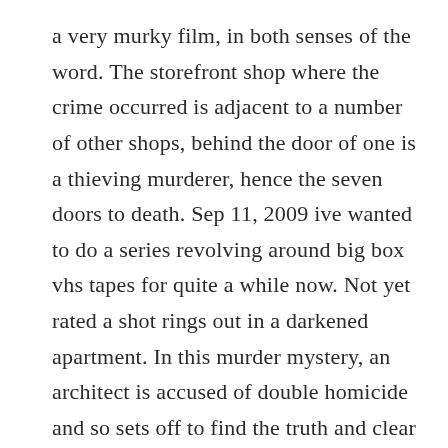a very murky film, in both senses of the word. The storefront shop where the crime occurred is adjacent to a number of other shops, behind the door of one is a thieving murderer, hence the seven doors to death. Sep 11, 2009 ive wanted to do a series revolving around big box vhs tapes for quite a while now. Not yet rated a shot rings out in a darkened apartment. In this murder mystery, an architect is accused of double homicide and so sets off to find the truth and clear his name. Elmer clifton a shot rings out in a darkened apartment.